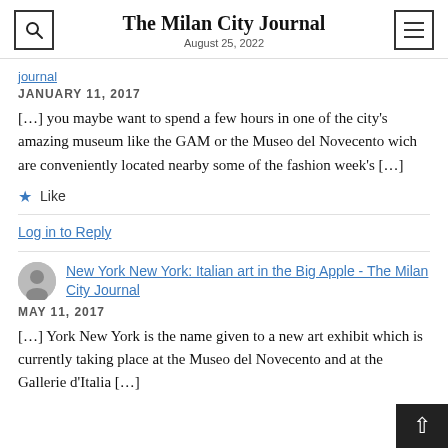The Milan City Journal
August 25, 2022
journal
JANUARY 11, 2017
[…] you maybe want to spend a few hours in one of the city's amazing museum like the GAM or the Museo del Novecento wich are conveniently located nearby some of the fashion week's […]
Like
Log in to Reply
New York New York: Italian art in the Big Apple - The Milan City Journal
MAY 11, 2017
[…] York New York is the name given to a new art exhibit which is currently taking place at the Museo del Novecento and at the Gallerie d'Italia […]